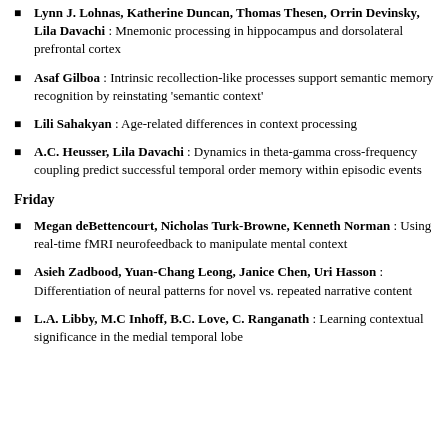Lynn J. Lohnas, Katherine Duncan, Thomas Thesen, Orrin Devinsky, Lila Davachi : Mnemonic processing in hippocampus and dorsolateral prefrontal cortex
Asaf Gilboa : Intrinsic recollection-like processes support semantic memory recognition by reinstating 'semantic context'
Lili Sahakyan : Age-related differences in context processing
A.C. Heusser, Lila Davachi : Dynamics in theta-gamma cross-frequency coupling predict successful temporal order memory within episodic events
Friday
Megan deBettencourt, Nicholas Turk-Browne, Kenneth Norman : Using real-time fMRI neurofeedback to manipulate mental context
Asieh Zadbood, Yuan-Chang Leong, Janice Chen, Uri Hasson : Differentiation of neural patterns for novel vs. repeated narrative content
L.A. Libby, M.C Inhoff, B.C. Love, C. Ranganath : Learning contextual significance in the medial temporal lobe